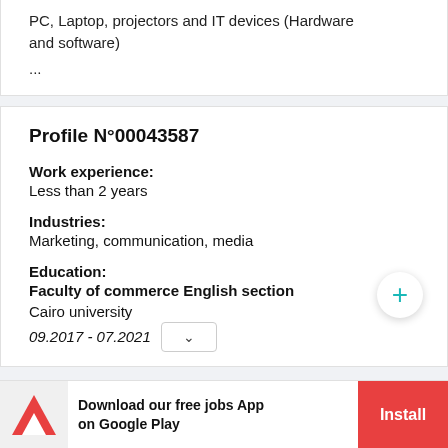PC, Laptop, projectors and IT devices (Hardware and software)
...
Profile N°00043587
Work experience:
Less than 2 years
Industries:
Marketing, communication, media
Education:
Faculty of commerce English section
Cairo university
09.2017 - 07.2021
Download our free jobs App on Google Play
Install